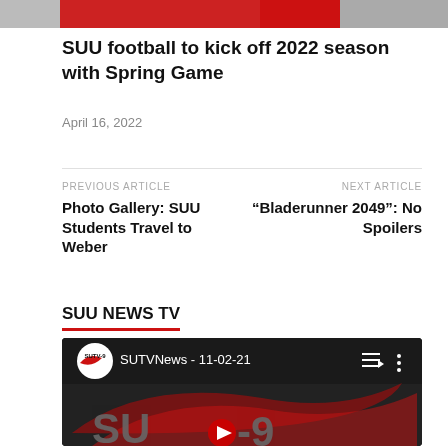[Figure (photo): Top banner image strip showing football-related imagery in red and gray]
SUU football to kick off 2022 season with Spring Game
April 16, 2022
PREVIOUS ARTICLE
Photo Gallery: SUU Students Travel to Weber
NEXT ARTICLE
“Bladerunner 2049”: No Spoilers
SUU NEWS TV
[Figure (screenshot): YouTube video embed showing SUTVNews - 11-02-21 with SUTV-9 logo circle and channel branding]